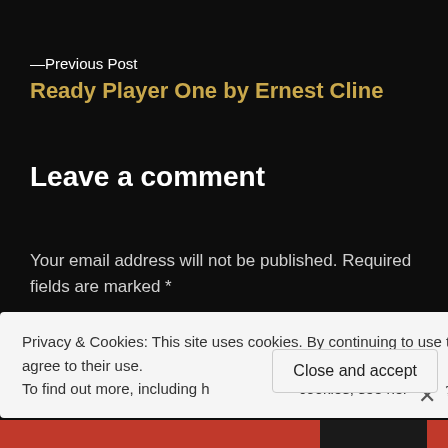—Previous Post
Ready Player One by Ernest Cline
Leave a comment
Your email address will not be published. Required fields are marked *
Comment *
Privacy & Cookies: This site uses cookies. By continuing to use this website, you agree to their use.
To find out more, including how to control cookies, see here: Cookie Po[licy]
Close and accept